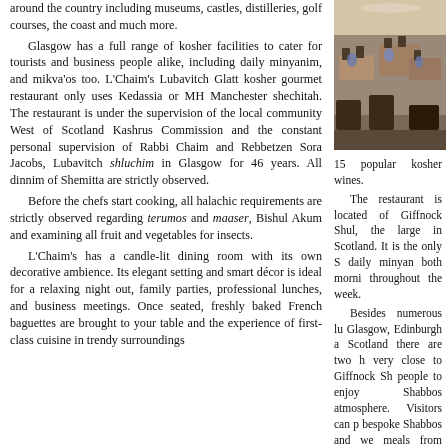around the country including museums, castles, distilleries, golf courses, the coast and much more.

Glasgow has a full range of kosher facilities to cater for tourists and business people alike, including daily minyanim, and mikva'os too. L'Chaim's Lubavitch Glatt kosher gourmet restaurant only uses Kedassia or MH Manchester shechitah. The restaurant is under the supervision of the local community West of Scotland Kashrus Commission and the constant personal supervision of Rabbi Chaim and Rebbetzen Sora Jacobs, Lubavitch shluchim in Glasgow for 46 years. All dinnim of Shemitta are strictly observed.

Before the chefs start cooking, all halachic requirements are strictly observed regarding terumos and maaser, Bishul Akum and examining all fruit and vegetables for insects.

L'Chaim's has a candle-lit dining room with its own decorative ambience. Its elegant setting and smart décor is ideal for a relaxing night out, family parties, professional lunches, and business meetings. Once seated, freshly baked French baguettes are brought to your table and the experience of first-class cuisine in trendy surroundings
[Figure (photo): Interior photo of a restaurant dining room with tables, chairs, and blue napkins/decorations]
15 popular kosher wines.

The restaurant is located of Giffnock Shul, the large in Scotland. It is the only S daily minyan both morni throughout the week.

Besides numerous lu Glasgow, Edinburgh a Scotland there are two h very close to Giffnock Sh people to enjoy Shabbos atmosphere. Visitors can p bespoke Shabbos and we meals from L'Chaim's. Ch extensive delicious menu.

The restaurant can provi and Shabbos Meals – B Dinner & Sandwiches Scotland.